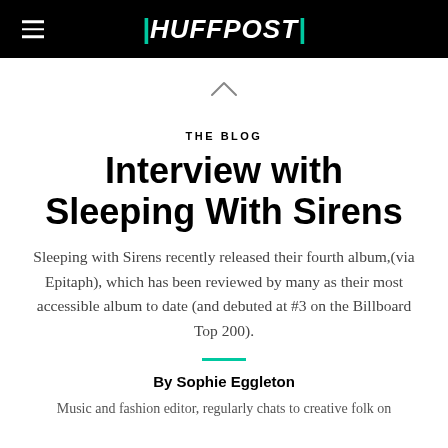HUFFPOST
THE BLOG
Interview with Sleeping With Sirens
Sleeping with Sirens recently released their fourth album,(via Epitaph), which has been reviewed by many as their most accessible album to date (and debuted at #3 on the Billboard Top 200).
By Sophie Eggleton
Music and fashion editor, regularly chats to creative folk on